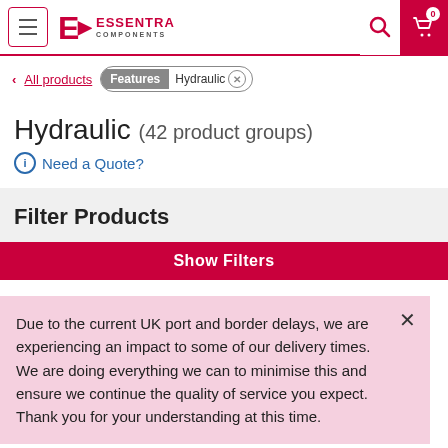Essentra Components — navigation header with menu, logo, search, and cart (0 items)
< All products | Features: Hydraulic ×
Hydraulic (42 product groups)
ⓘ Need a Quote?
Filter Products
Show Filters
Due to the current UK port and border delays, we are experiencing an impact to some of our delivery times. We are doing everything we can to minimise this and ensure we continue the quality of service you expect. Thank you for your understanding at this time.